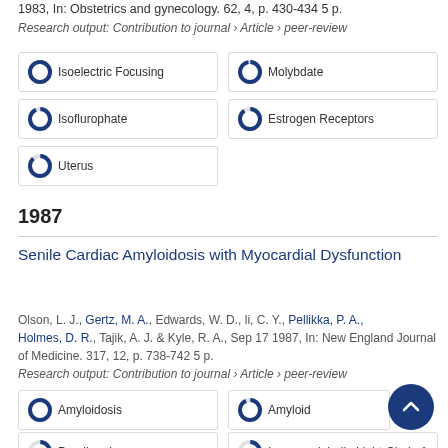1983, In: Obstetrics and gynecology. 62, 4, p. 430-434 5 p.
Research output: Contribution to journal › Article › peer-review
100% Isoelectric Focusing
97% Molybdate
93% Isoflurophate
90% Estrogen Receptors
88% Uterus
1987
Senile Cardiac Amyloidosis with Myocardial Dysfunction
Olson, L. J., Gertz, M. A., Edwards, W. D., li, C. Y., Pellikka, P. A., Holmes, D. R., Tajik, A. J. & Kyle, R. A., Sep 17 1987, In: New England Journal of Medicine. 317, 12, p. 738-742 5 p.
Research output: Contribution to journal › Article › peer-review
100% Amyloidosis
93% Amyloid
60% Prealbumin
50% Immunoglobulin Light-Chain A